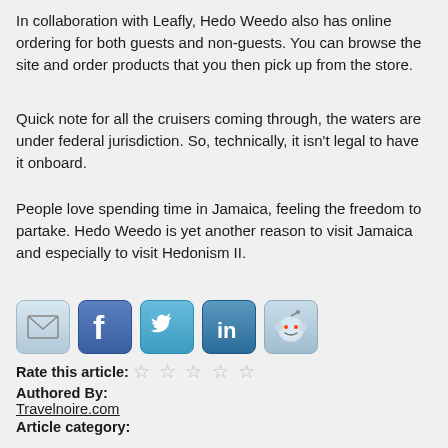In collaboration with Leafly, Hedo Weedo also has online ordering for both guests and non-guests. You can browse the site and order products that you then pick up from the store.
Quick note for all the cruisers coming through, the waters are under federal jurisdiction. So, technically, it isn't legal to have it onboard.
People love spending time in Jamaica, feeling the freedom to partake. Hedo Weedo is yet another reason to visit Jamaica and especially to visit Hedonism II.
[Figure (infographic): Row of social sharing icons: email (envelope), Facebook (f logo), Twitter (bird logo), LinkedIn (in logo), Reddit (alien logo)]
Rate this article: ☆ ☆ ☆ ☆ ☆
Authored By:
Travelnoire.com
Article category:
Recreational Marijuana News
Regional Marijuana News:
Jamaica